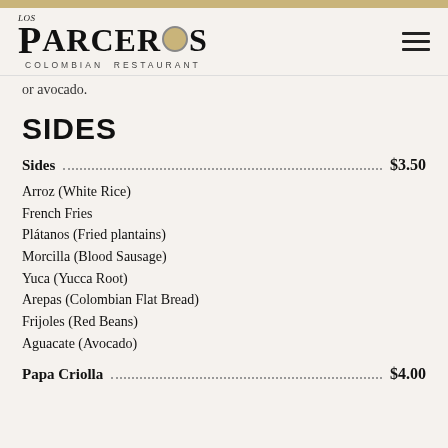Los Parceros Colombian Restaurant
or avocado.
SIDES
Sides $3.50
Arroz (White Rice)
French Fries
Plátanos (Fried plantains)
Morcilla (Blood Sausage)
Yuca (Yucca Root)
Arepas (Colombian Flat Bread)
Frijoles (Red Beans)
Aguacate (Avocado)
Papa Criolla $4.00